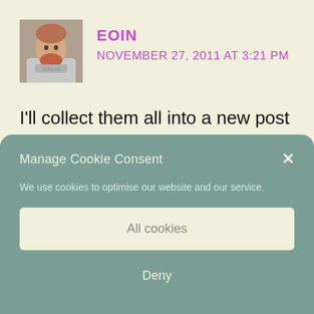[Figure (photo): Avatar photo of user Eoin, a person with reddish beard wearing a grey t-shirt]
EOIN
NOVEMBER 27, 2011 AT 3:21 PM
I'll collect them all into a new post another week, with a deeper explanation of meanings, and with phonetics.
Manage Cookie Consent
We use cookies to optimise our website and our service.
All cookies
Deny